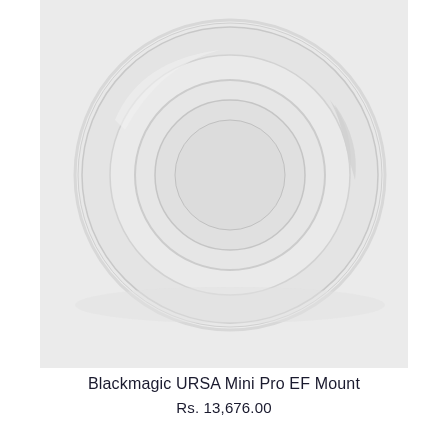[Figure (photo): Product photo of Blackmagic URSA Mini Pro EF Mount camera lens mount adapter, shown as a circular lens mount ring on a light gray background]
Blackmagic URSA Mini Pro EF Mount
Rs. 13,676.00